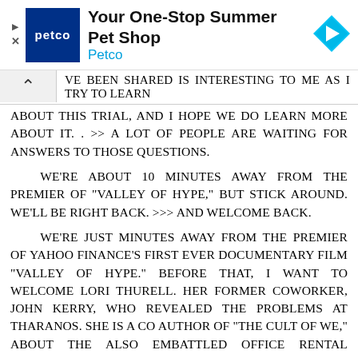[Figure (other): Petco advertisement banner with logo, text 'Your One-Stop Summer Pet Shop Petco', and navigation icon]
VE BEEN SHARED IS INTERESTING TO ME AS I TRY TO LEARN ABOUT THIS TRIAL, AND I HOPE WE DO LEARN MORE ABOUT IT. . >> A LOT OF PEOPLE ARE WAITING FOR ANSWERS TO THOSE QUESTIONS.
WE'RE ABOUT 10 MINUTES AWAY FROM THE PREMIER OF "VALLEY OF HYPE," BUT STICK AROUND. WE'LL BE RIGHT BACK. >>> AND WELCOME BACK.
WE'RE JUST MINUTES AWAY FROM THE PREMIER OF YAHOO FINANCE'S FIRST EVER DOCUMENTARY FILM "VALLEY OF HYPE." BEFORE THAT, I WANT TO WELCOME LORI THURELL. HER FORMER COWORKER, JOHN KERRY, WHO REVEALED THE PROBLEMS AT THARANOS. SHE IS A CO AUTHOR OF "THE CULT OF WE," ABOUT THE ALSO EMBATTLED OFFICE RENTAL STARTER WE WORK AND ITS FOUNDER ADAM NEWMAN. WELCOME. >> THANK YOU SO MUCH FOR HAVING ME.
>> SO I CANNOT THINK ABOUT THARANOS WITHOUT ALSO THINKING ABOUT WE WORK. IT'S REALLY AN EXAMPLE OF HISTORY ALREADY REPEATING ITSELF, AND WITH MUCH BIGGER DOLLARS ATTACHED. SO YOU DESCRIBED THE MELTDOWN AS A VITAL PARABLE IN THE 21st CENTURY ECONOMY IN YOUR BOOK. WHICH SIMILARITIES DO YOU FIND OR SEE BETWEEN THOSE TWO